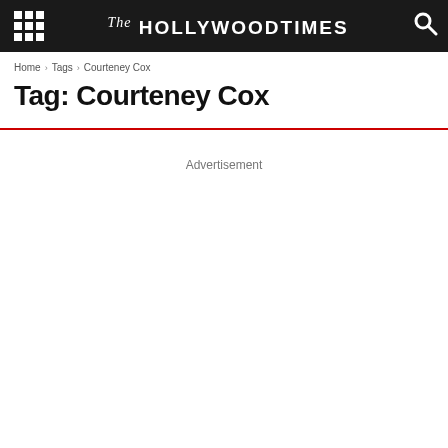The Hollywood Times
Home › Tags › Courteney Cox
Tag: Courteney Cox
Advertisement